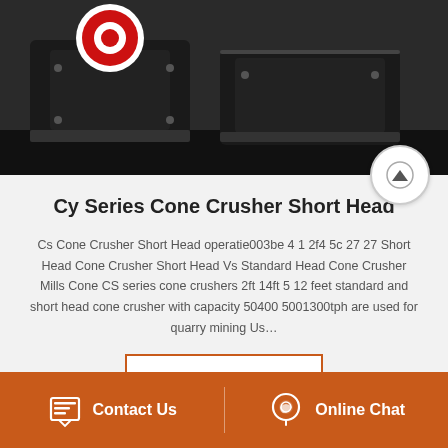[Figure (photo): Industrial cone crusher machinery in black finish with red/white circular marking on top, shown in a manufacturing or warehouse setting]
Cy Series Cone Crusher Short Head
Cs Cone Crusher Short Head operatie003be 4 1 2f4 5c 27 27 Short Head Cone Crusher Short Head Vs Standard Head Cone Crusher Mills Cone CS series cone crushers 2ft 14ft 5 12 feet standard and short head cone crusher with capacity 50400 5001300tph are used for quarry mining Us…
Read More >
Contact Us   Online Chat